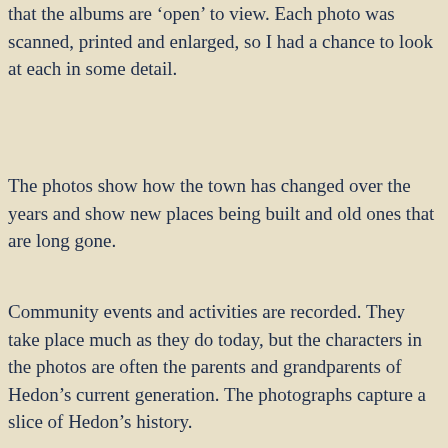that the albums are ‘open’ to view. Each photo was scanned, printed and enlarged, so I had a chance to look at each in some detail.
The photos show how the town has changed over the years and show new places being built and old ones that are long gone.
Community events and activities are recorded. They take place much as they do today, but the characters in the photos are often the parents and grandparents of Hedon’s current generation. The photographs capture a slice of Hedon’s history.